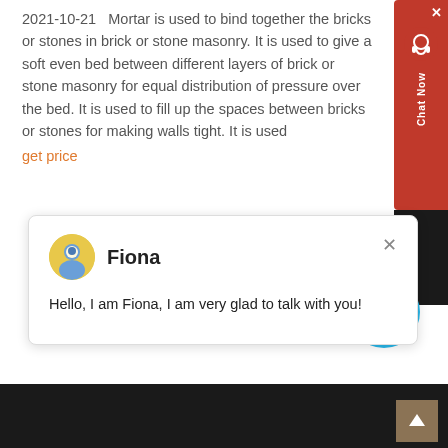2021-10-21   Mortar is used to bind together the bricks or stones in brick or stone masonry. It is used to give a soft even bed between different layers of brick or stone masonry for equal distribution of pressure over the bed. It is used to fill up the spaces between bricks or stones for making walls tight. It is used
get price
[Figure (screenshot): Chat popup with avatar of Fiona and message: Hello, I am Fiona, I am very glad to talk with you!]
[Figure (other): Cyan circular button with number 1]
[Figure (other): Dark footer bar with scroll-to-top button]